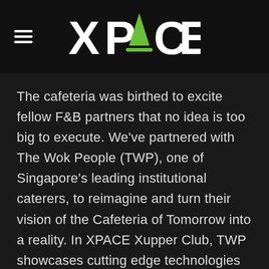[Figure (logo): XPACE logo with green triangle replacing the letter A, white text on dark background, with hamburger menu icon on the left]
The cafeteria was birthed to excite fellow F&B partners that no idea is too big to execute. We’ve partnered with The Wok People (TWP), one of Singapore’s leading institutional caterers, to reimagine and turn their vision of the Cafeteria of Tomorrow into a reality. In XPACE Xupper Club, TWP showcases cutting edge technologies such as manless checkout counters, facial recognition, cashless transactions, service robots, Ecolab smart system for environmentally friendly cleaning and an app that allows pre-ordering of meals